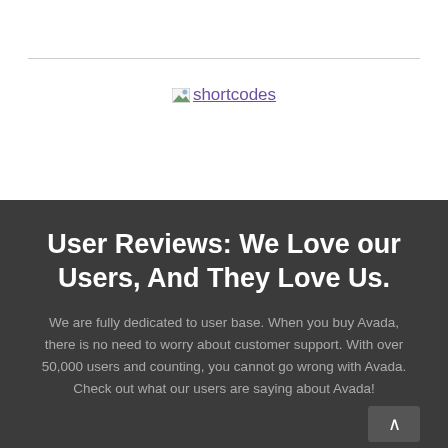[Figure (logo): Broken image icon followed by text 'shortcodes' as a hyperlink in purple]
User Reviews: We Love our Users, And They Love Us.
We are fully dedicated to user base. When you buy Avada, there is no need to worry about customer support. With over 50,000 users and counting, you cannot go wrong with Avada. Check out what our users are saying about Avada!